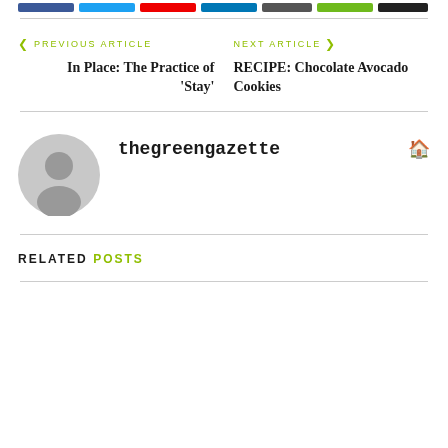Social share buttons bar
PREVIOUS ARTICLE
In Place: The Practice of 'Stay'
NEXT ARTICLE
RECIPE: Chocolate Avocado Cookies
thegreengazette
RELATED POSTS